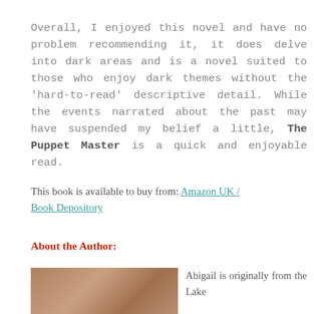Overall, I enjoyed this novel and have no problem recommending it, it does delve into dark areas and is a novel suited to those who enjoy dark themes without the 'hard-to-read' descriptive detail. While the events narrated about the past may have suspended my belief a little, The Puppet Master is a quick and enjoyable read.
This book is available to buy from: Amazon UK / Book Depository
About the Author:
[Figure (photo): Author photo showing a person's face, partially visible, with a brick or wooden background.]
Abigail is originally from the Lake